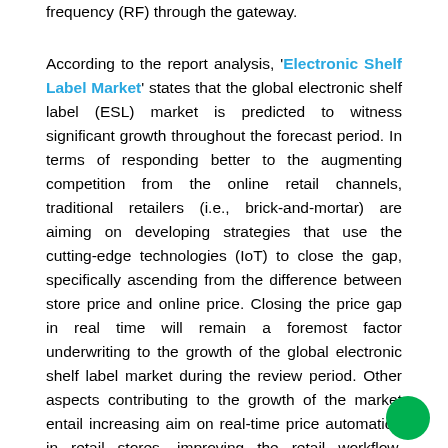frequency (RF) through the gateway.
According to the report analysis, 'Electronic Shelf Label Market' states that the global electronic shelf label (ESL) market is predicted to witness significant growth throughout the forecast period. In terms of responding better to the augmenting competition from the online retail channels, traditional retailers (i.e., brick-and-mortar) are aiming on developing strategies that use the cutting-edge technologies (IoT) to close the gap, specifically ascending from the difference between store price and online price. Closing the price gap in real time will remain a foremost factor underwriting to the growth of the global electronic shelf label market during the review period. Other aspects contributing to the growth of the market entail increasing aim on real-time price automation in retail stores, improving the retail workflow, government regulations on commodity pricing,